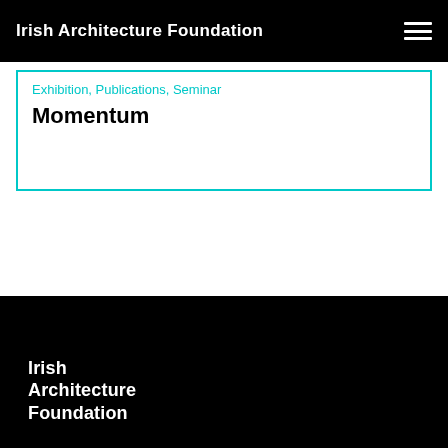Irish Architecture Foundation
Exhibition, Publications, Seminar
Momentum
Irish Architecture Foundation